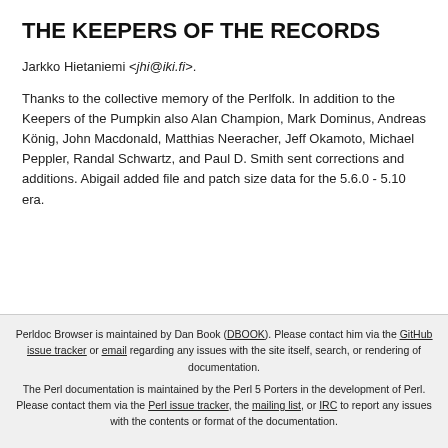THE KEEPERS OF THE RECORDS
Jarkko Hietaniemi <jhi@iki.fi>.
Thanks to the collective memory of the Perlfolk. In addition to the Keepers of the Pumpkin also Alan Champion, Mark Dominus, Andreas König, John Macdonald, Matthias Neeracher, Jeff Okamoto, Michael Peppler, Randal Schwartz, and Paul D. Smith sent corrections and additions. Abigail added file and patch size data for the 5.6.0 - 5.10 era.
Perldoc Browser is maintained by Dan Book (DBOOK). Please contact him via the GitHub issue tracker or email regarding any issues with the site itself, search, or rendering of documentation. The Perl documentation is maintained by the Perl 5 Porters in the development of Perl. Please contact them via the Perl issue tracker, the mailing list, or IRC to report any issues with the contents or format of the documentation.